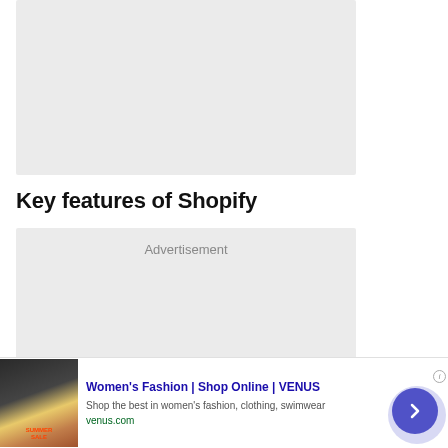[Figure (other): Gray placeholder rectangle at top of page]
Key features of Shopify
[Figure (other): Advertisement placeholder box with 'Advertisement' label]
[Figure (other): Bottom banner ad: Women's Fashion | Shop Online | VENUS. Shop the best in women's fashion, clothing, swimwear. venus.com]